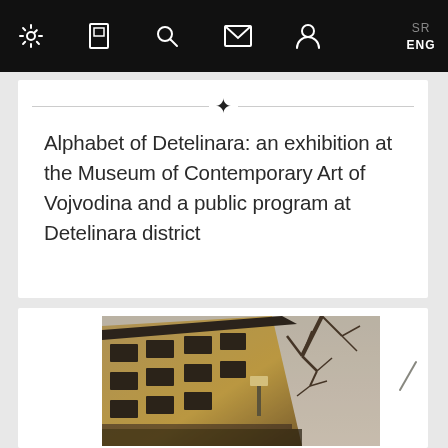SR ENG [navigation icons: settings, bookmark, search, mail, user]
Alphabet of Detelinara: an exhibition at the Museum of Contemporary Art of Vojvodina and a public program at Detelinara district
[Figure (photo): Exterior photograph of a multi-storey building facade taken from a low angle, showing windows and architectural details with bare tree branches visible against a grey sky in the background. The image has a warm sepia/vintage tone.]